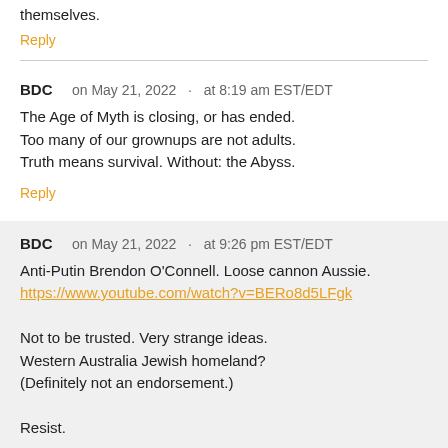themselves.
Reply
BDC   on May 21, 2022  ·  at 8:19 am EST/EDT
The Age of Myth is closing, or has ended.
Too many of our grownups are not adults.
Truth means survival. Without: the Abyss.
Reply
BDC   on May 21, 2022  ·  at 9:26 pm EST/EDT
Anti-Putin Brendon O'Connell. Loose cannon Aussie.
https://www.youtube.com/watch?v=BERo8d5LFgk

Not to be trusted. Very strange ideas.
Western Australia Jewish homeland?
(Definitely not an endorsement.)

Resist.
Reply